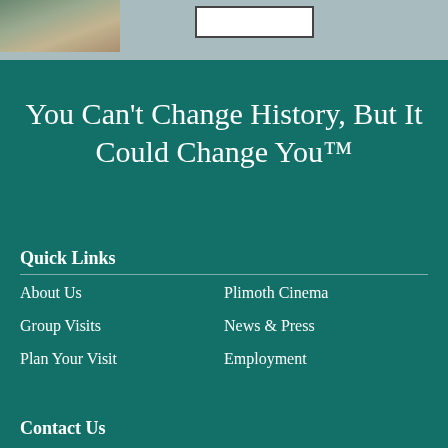[Figure (photo): Partial view of a photo showing a table setting or artifacts, cropped at top of page]
You Can't Change History, But It Could Change You™
Quick Links
About Us
Plimoth Cinema
Group Visits
News & Press
Plan Your Visit
Employment
Contact Us